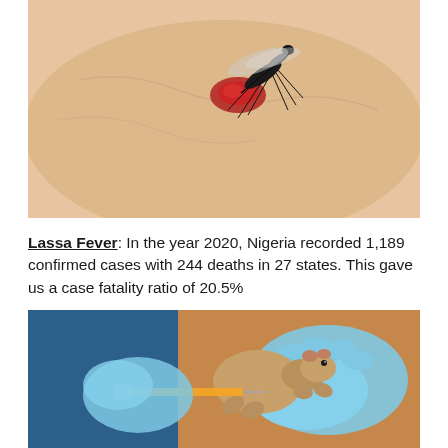[Figure (photo): Close-up photo of a mosquito biting human skin, with blood visible at the bite site. The mosquito is shown in sharp detail against pale skin.]
Lassa Fever: In the year 2020, Nigeria recorded 1,189 confirmed cases with 244 deaths in 27 states. This gave us a case fatality ratio of 20.5%
[Figure (photo): Photo of gloved hands in blue medical gloves holding a small rodent (mastomys rat) while administering an injection with a syringe.]